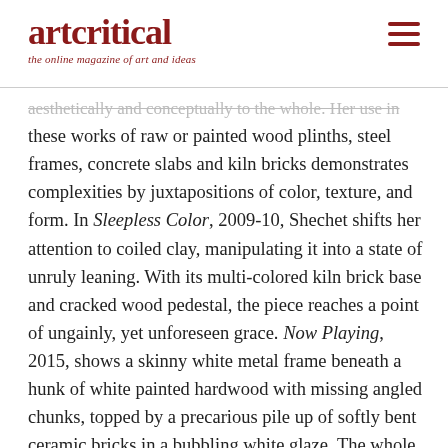artcritical — the online magazine of art and ideas
aesthetically and conceptually to the whole. Her use in these works of raw or painted wood plinths, steel frames, concrete slabs and kiln bricks demonstrates complexities by juxtapositions of color, texture, and form. In Sleepless Color, 2009-10, Shechet shifts her attention to coiled clay, manipulating it into a state of unruly leaning. With its multi-colored kiln brick base and cracked wood pedestal, the piece reaches a point of ungainly, yet unforeseen grace. Now Playing, 2015, shows a skinny white metal frame beneath a hunk of white painted hardwood with missing angled chunks, topped by a precarious pile up of softly bent ceramic bricks in a bubbling white glaze. The whole effect is complex, contradictory yet formally satisfying, Shechet displaying her relish for materials and her penchant for brinkmanship.